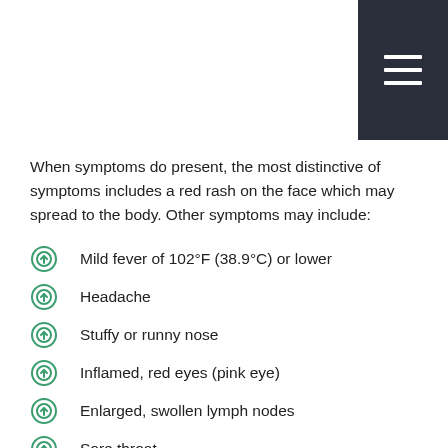[Figure (other): Dark navy hamburger menu icon in top-right corner navigation bar]
When symptoms do present, the most distinctive of symptoms includes a red rash on the face which may spread to the body. Other symptoms may include:
Mild fever of 102°F (38.9°C) or lower
Headache
Stuffy or runny nose
Inflamed, red eyes (pink eye)
Enlarged, swollen lymph nodes
Sore throat
Aching joints, especially in young women
Cough
General discomfort
Rubella in adults is usually indicated by mild illness, accompanied with a low-grade fever, a sore throat and a rash that starts on the face and spreads to the body. Some adults may also experience a headache, pink eye and general discomfort.